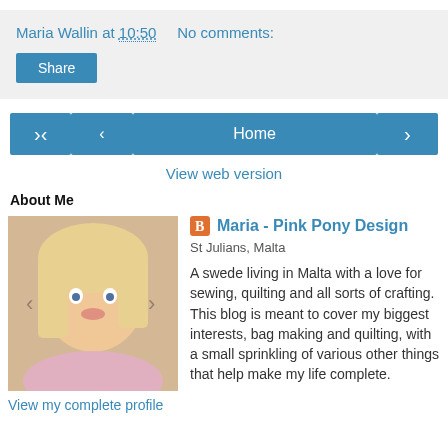Maria Wallin at 10:50    No comments:
Share
< Home >
View web version
About Me
[Figure (photo): Profile photo of Maria Wallin, a blonde woman]
Maria - Pink Pony Design
St Julians, Malta
A swede living in Malta with a love for sewing, quilting and all sorts of crafting. This blog is meant to cover my biggest interests, bag making and quilting, with a small sprinkling of various other things that help make my life complete.
View my complete profile